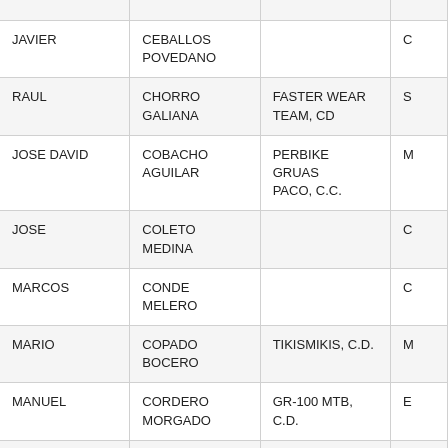| First Name | Last Name | Club/Team |  |
| --- | --- | --- | --- |
| JAVIER | CEBALLOS POVEDANO |  | C… |
| RAUL | CHORRO GALIANA | FASTER WEAR TEAM, CD | S… |
| JOSE DAVID | COBACHO AGUILAR | PERBIKE GRUAS PACO, C.C. | M… |
| JOSE | COLETO MEDINA |  | C… |
| MARCOS | CONDE MELERO |  | C… |
| MARIO | COPADO BOCERO | TIKISMIKIS, C.D. | M… |
| MANUEL | CORDERO MORGADO | GR-100 MTB, C.D. | E… |
| MANUEL | CORTES CAMERO |  | C… |